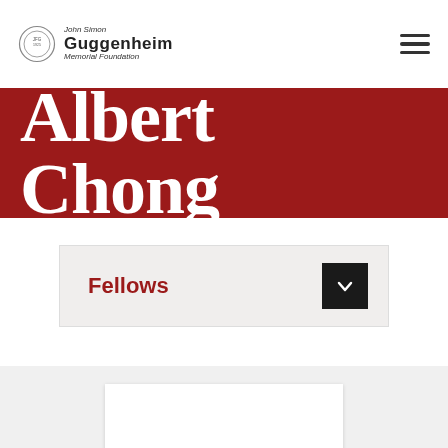John Simon Guggenheim Memorial Foundation
Albert Chong
Fellows
[Figure (photo): Partial view of a photograph of Albert Chong, showing a red artistic image at the bottom of the page]